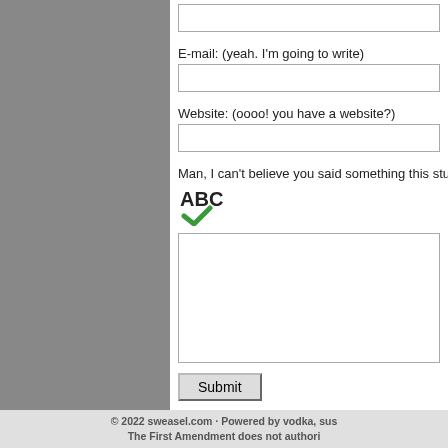E-mail: (yeah. I'm going to write)
Website: (oooo! you have a website?)
Man, I can't believe you said something this stupid:
[Figure (other): ABC spellcheck icon with green checkmark]
Submit
Beware: more than one link in a comment is apt to earn... remain -- cold, frightened and alone -- until I remember... be up to our asses in...well, ass porn, mostly.
<< carry me back to ol' virginny
© 2022 sweasel.com · Powered by vodka, sus... The First Amendment does not authori...